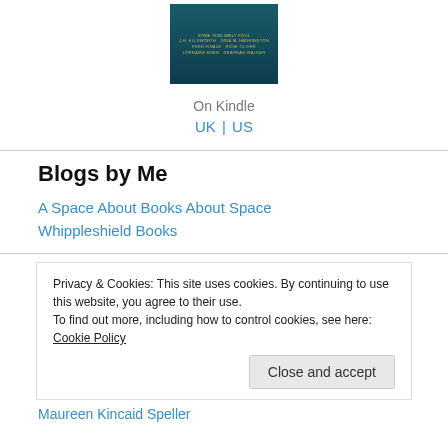[Figure (illustration): Book cover thumbnail with dark teal background and yellow text listing author names]
On Kindle
UK | US
Blogs by Me
A Space About Books About Space
Whippleshield Books
Privacy & Cookies: This site uses cookies. By continuing to use this website, you agree to their use.
To find out more, including how to control cookies, see here: Cookie Policy
Close and accept
Maureen Kincaid Speller